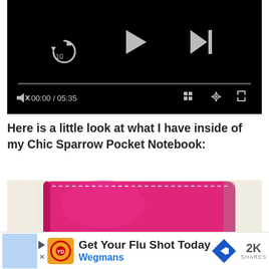[Figure (screenshot): Video player with black background showing replay-10s, play, and skip controls, a progress bar at 00:00/05:35, and bottom bar with mute, time, grid, settings, and fullscreen icons.]
Here is a little look at what I have inside of my Chic Sparrow Pocket Notebook:
[Figure (photo): Close-up photo of a hot pink leather notebook/wallet with white stitching on a white background.]
[Figure (screenshot): Advertisement banner: Get Your Flu Shot Today – Wegmans, with orange logo, blue diamond arrow icon, and 2K SHARES counter.]